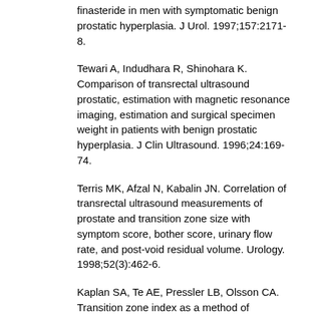finasteride in men with symptomatic benign prostatic hyperplasia. J Urol. 1997;157:2171-8.
Tewari A, Indudhara R, Shinohara K. Comparison of transrectal ultrasound prostatic, estimation with magnetic resonance imaging, estimation and surgical specimen weight in patients with benign prostatic hyperplasia. J Clin Ultrasound. 1996;24:169-74.
Terris MK, Afzal N, Kabalin JN. Correlation of transrectal ultrasound measurements of prostate and transition zone size with symptom score, bother score, urinary flow rate, and post-void residual volume. Urology. 1998;52(3):462-6.
Kaplan SA, Te AE, Pressler LB, Olsson CA. Transition zone index as a method of assessing benign prostatic hyperplasia: Correlation with symptoms, urine flow and detrussor pressure. J Urol. 1995;154:1764-9.
Hakenberg OW, Helke C, Manseck A, Wirth MP. Is there a relationship between the amount of tissue removed at transurethral resection of the